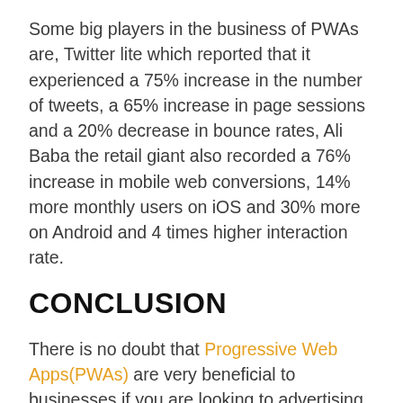Some big players in the business of PWAs are, Twitter lite which reported that it experienced a 75% increase in the number of tweets, a 65% increase in page sessions and a 20% decrease in bounce rates, Ali Baba the retail giant also recorded a 76% increase in mobile web conversions, 14% more monthly users on iOS and 30% more on Android and 4 times higher interaction rate.
CONCLUSION
There is no doubt that Progressive Web Apps(PWAs) are very beneficial to businesses if you are looking to advertising your brand or driving more traffic on your website, the PWA is